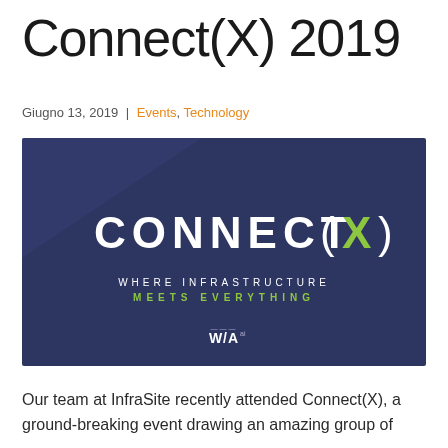Connect(X) 2019
Giugno 13, 2019 | Events, Technology
[Figure (illustration): Connect(X) event banner image on dark navy background with white bold text 'CONNECT' followed by '(X)' where X is in green, subtitle 'WHERE INFRASTRUCTURE' in white and 'MEETS EVERYTHING' in green, with WIA logo at bottom center]
Our team at InfraSite recently attended Connect(X), a ground-breaking event drawing an amazing group of